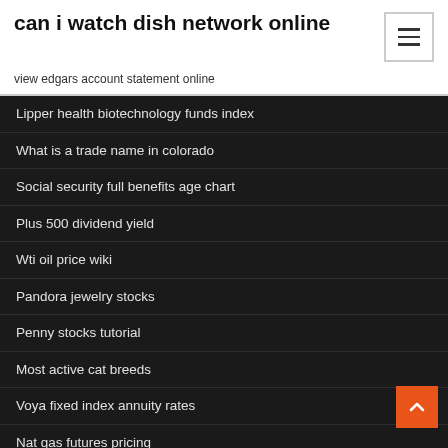can i watch dish network online
view edgars account statement online
Lipper health biotechnology funds index
What is a trade name in colorado
Social security full benefits age chart
Plus 500 dividend yield
Wti oil price wiki
Pandora jewelry stocks
Penny stocks tutorial
Most active cat breeds
Voya fixed index annuity rates
Nat gas futures pricing